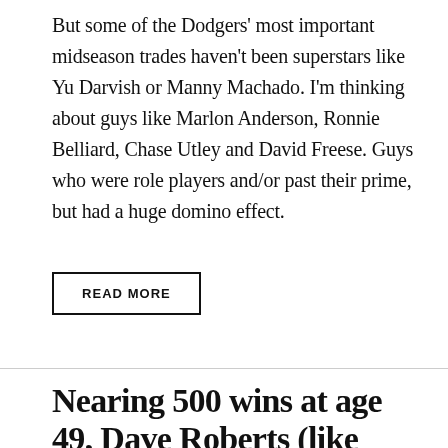But some of the Dodgers' most important midseason trades haven't been superstars like Yu Darvish or Manny Machado. I'm thinking about guys like Marlon Anderson, Ronnie Belliard, Chase Utley and David Freese. Guys who were role players and/or past their prime, but had a huge domino effect.
READ MORE
Nearing 500 wins at age 49, Dave Roberts (like him or not) is on track for the Hall of Fame